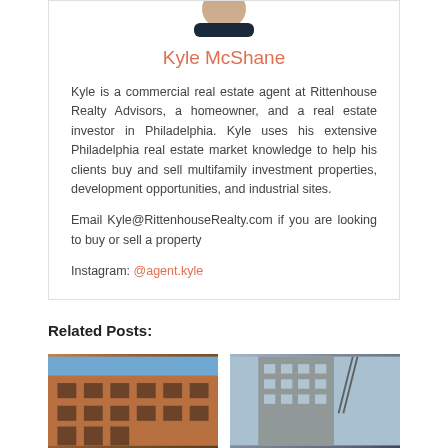[Figure (photo): Partial photo of a person (head/shoulders) at top of profile card]
Kyle McShane
Kyle is a commercial real estate agent at Rittenhouse Realty Advisors, a homeowner, and a real estate investor in Philadelphia. Kyle uses his extensive Philadelphia real estate market knowledge to help his clients buy and sell multifamily investment properties, development opportunities, and industrial sites.
Email Kyle@RittenhouseRealty.com if you are looking to buy or sell a property
Instagram: @agent.kyle
Related Posts:
[Figure (photo): Photo of brick multistory building exterior]
[Figure (photo): Photo of tall building exterior with cranes]